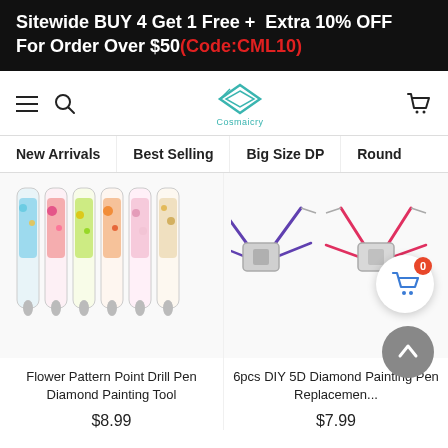Sitewide BUY 4 Get 1 Free + Extra 10% OFF For Order Over $50(Code:CML10)
[Figure (screenshot): E-commerce website navigation bar with hamburger menu, search icon, Cosmaicry logo, and cart icon]
New Arrivals  Best Selling  Big Size DP  Round
[Figure (photo): Flower Pattern Point Drill Pen Diamond Painting Tool - colorful pens with floral designs inside]
[Figure (photo): 6pcs DIY 5D Diamond Painting Pen Replacement tools - metal pen holders shown open]
Flower Pattern Point Drill Pen Diamond Painting Tool
$8.99
6pcs DIY 5D Diamond Painting Pen Replacemen...
$7.99